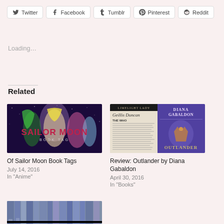[Figure (other): Social sharing buttons: Twitter, Facebook, Tumblr, Pinterest, Reddit]
Loading…
Related
[Figure (photo): Sailor Moon Book Tag promotional image with anime characters and text 'SAILOR MOON BOOK TAG']
Of Sailor Moon Book Tags
July 14, 2016
In "Anime"
[Figure (photo): Book cover or blog image for Review: Outlander by Diana Gabaldon, featuring Limelight Lady header, text about Geillis Duncan, and Outlander book cover]
Review: Outlander by Diana Gabaldon
April 30, 2016
In "Books"
[Figure (photo): Partial view of a third related post with books image, partially cut off at bottom]